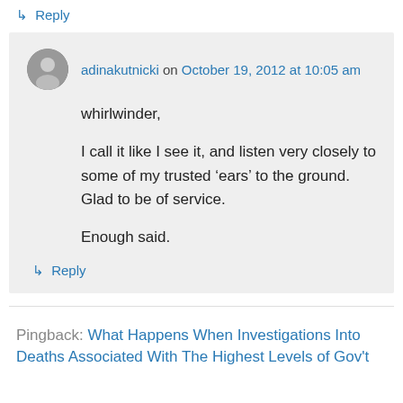↳ Reply
adinakutnicki on October 19, 2012 at 10:05 am
whirlwinder,

I call it like I see it, and listen very closely to some of my trusted ‘ears’ to the ground. Glad to be of service.

Enough said.
↳ Reply
Pingback: What Happens When Investigations Into Deaths Associated With The Highest Levels of Gov't